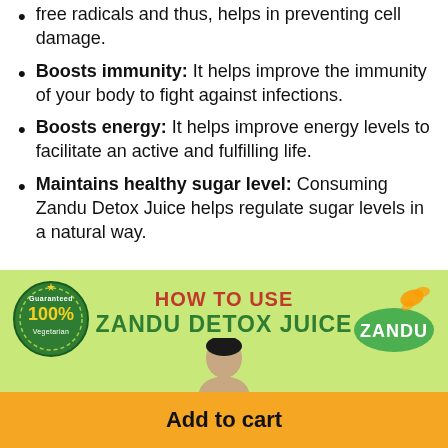free radicals and thus, helps in preventing cell damage.
Boosts immunity: It helps improve the immunity of your body to fight against infections.
Boosts energy: It helps improve energy levels to facilitate an active and fulfilling life.
Maintains healthy sugar level: Consuming Zandu Detox Juice helps regulate sugar levels in a natural way.
[Figure (infographic): Green banner section with '100% Guaranteed Vegetarian' badge on left, Zandu logo on right, 'HOW TO USE ZANDU DETOX JUICE' heading in center, partial image of a woman, and yellow Add to cart button at bottom]